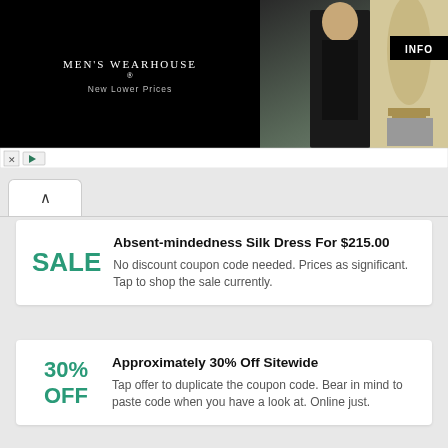[Figure (photo): Men's Wearhouse advertisement banner showing logo with 'New Lower Prices', a couple in formal wear, a man in a tan suit, and an INFO button]
Absent-mindedness Silk Dress For $215.00
SALE
No discount coupon code needed. Prices as significant. Tap to shop the sale currently.
Approximately 30% Off Sitewide
30% OFF
Tap offer to duplicate the coupon code. Bear in mind to paste code when you have a look at. Online just.